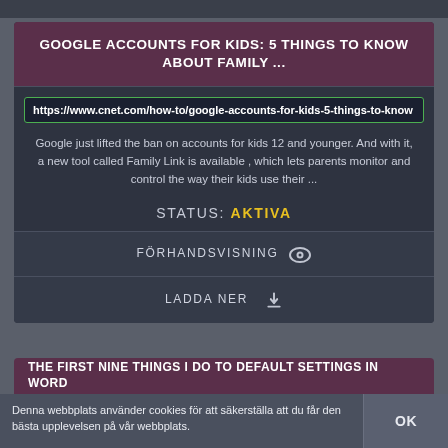GOOGLE ACCOUNTS FOR KIDS: 5 THINGS TO KNOW ABOUT FAMILY ...
https://www.cnet.com/how-to/google-accounts-for-kids-5-things-to-know
Google just lifted the ban on accounts for kids 12 and younger. And with it, a new tool called Family Link is available , which lets parents monitor and control the way their kids use their ...
STATUS: AKTIVA
FÖRHANDSVISNING 👁
LADDA NER ⬇
THE FIRST NINE THINGS I DO TO DEFAULT SETTINGS IN WORD
Denna webbplats använder cookies för att säkerställa att du får den bästa upplevelsen på vår webbplats.
OK